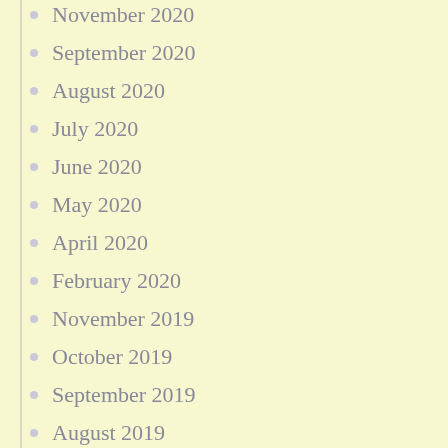November 2020
September 2020
August 2020
July 2020
June 2020
May 2020
April 2020
February 2020
November 2019
October 2019
September 2019
August 2019
July 2019